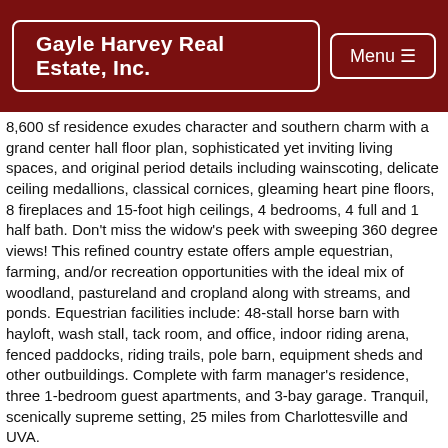Gayle Harvey Real Estate, Inc. | Menu
8,600 sf residence exudes character and southern charm with a grand center hall floor plan, sophisticated yet inviting living spaces, and original period details including wainscoting, delicate ceiling medallions, classical cornices, gleaming heart pine floors, 8 fireplaces and 15-foot high ceilings, 4 bedrooms, 4 full and 1 half bath. Don't miss the widow's peek with sweeping 360 degree views! This refined country estate offers ample equestrian, farming, and/or recreation opportunities with the ideal mix of woodland, pastureland and cropland along with streams, and ponds. Equestrian facilities include: 48-stall horse barn with hayloft, wash stall, tack room, and office, indoor riding arena, fenced paddocks, riding trails, pole barn, equipment sheds and other outbuildings. Complete with farm manager's residence, three 1-bedroom guest apartments, and 3-bay garage. Tranquil, scenically supreme setting, 25 miles from Charlottesville and UVA.
Learn more about Greenfields Farm
Price: $6,295,000.
For prompt assistance:
Call Gayle Harvey Real Estate: 434-220-0256